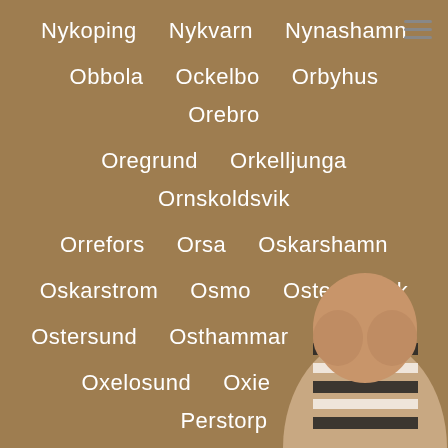Nykoping  Nykvarn  Nynashamn
Obbola  Ockelbo  Orbyhus  Orebro
Oregrund  Orkelljunga  Ornskoldsvik
Orrefors  Orsa  Oskarshamn
Oskarstrom  Osmo  Osterbybruk
Ostersund  Osthammar  Overkalix
Oxelosund  Oxie  Pajala  Perstorp
Porjus  Ramsele  Rejmyre  Rimbo
Robertsfors  Romme  Ro...
Rosenlund  Rosersberg  R...
Rottne  Rottneros  Rya  Ryd